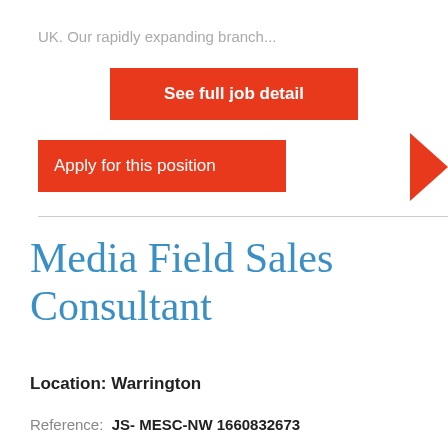UK. Our rapidly expanding branch...
See full job detail
Apply for this position
Media Field Sales Consultant
Location: Warrington
Reference: JS- MESC-NW 1660832673